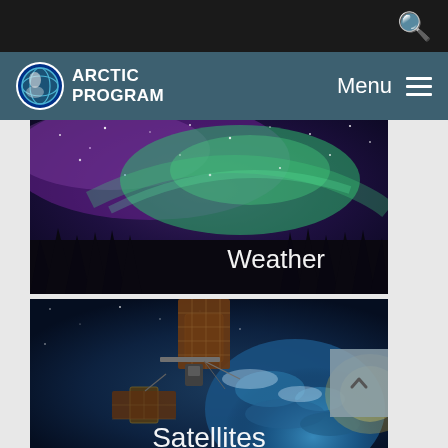ARCTIC PROGRAM — Menu
[Figure (photo): Aurora borealis (northern lights) photograph with green and purple hues over silhouetted trees, with the label 'Weather' in the lower right]
[Figure (photo): Illustration of a satellite in orbit above Earth with the label 'Satellites' at the bottom]